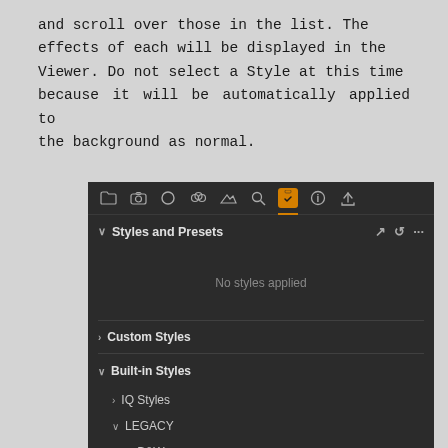and scroll over those in the list. The effects of each will be displayed in the Viewer. Do not select a Style at this time because it will be automatically applied to the background as normal.
[Figure (screenshot): A dark-themed software panel showing 'Styles and Presets' with 'No styles applied', a 'Custom Styles' section, and 'Built-in Styles' with 'IQ Styles', 'LEGACY', and 'B&W' subsections. The toolbar at top has various icons with a clipboard/checkmark icon highlighted in orange.]